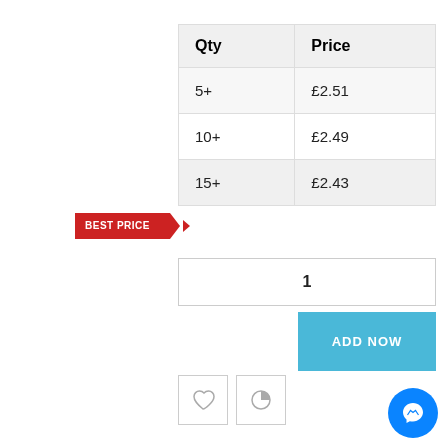| Qty | Price |
| --- | --- |
| 5+ | £2.51 |
| 10+ | £2.49 |
| 15+ | £2.43 |
[Figure (infographic): Red 'BEST PRICE' badge with arrow pointing to the 15+ row]
[Figure (screenshot): Quantity input box showing value 1]
[Figure (screenshot): Blue ADD NOW button]
[Figure (infographic): Two icon buttons: heart (wishlist) and pie chart (compare). Blue Messenger chat button bottom right.]